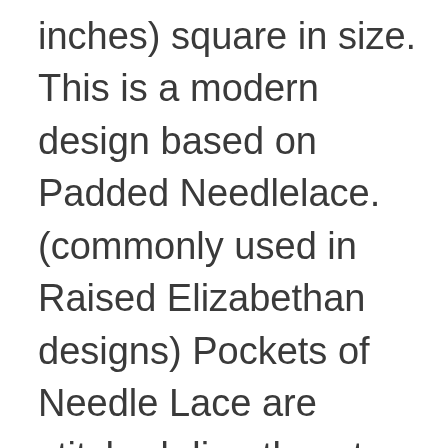inches) square in size. This is a modern design based on Padded Needlelace. (commonly used in Raised Elizabethan designs) Pockets of Needle Lace are stitched directly onto the fabric and then padded to produce raised stitched areas. Metallic thread and